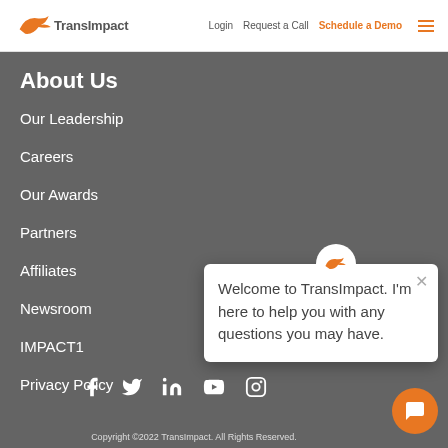TransImpact | Login | Request a Call | Schedule a Demo
About Us
Our Leadership
Careers
Our Awards
Partners
Affiliates
Newsroom
IMPACT1
Privacy Policy
Welcome to TransImpact. I'm here to help you with any questions you may have.
Copyright ©2022 TransImpact. All Rights Reserved.